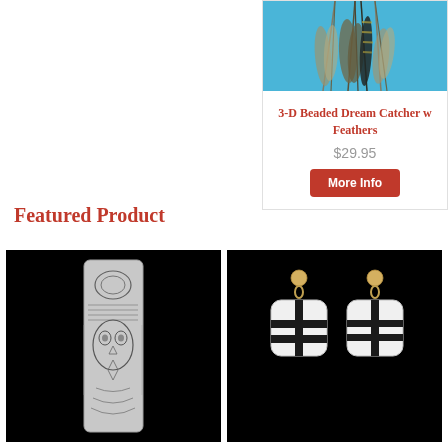[Figure (photo): Product card showing 3-D Beaded Dream Catcher with Feathers on blue background, priced at $29.95 with a More Info button]
Featured Product
[Figure (photo): Black background photo of an ornate silver money clip or similar engraved silver item with detailed decorative pattern]
[Figure (photo): Black background photo of a pair of earrings with white and black inlay geometric pattern on rounded square silver settings]